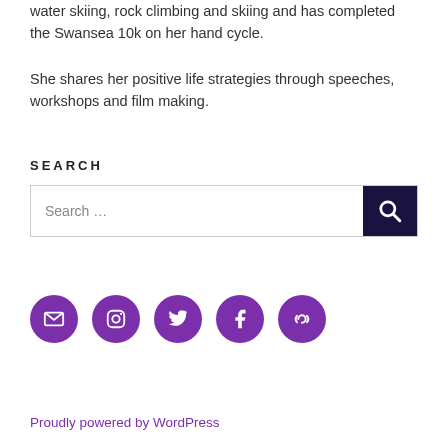water skiing, rock climbing and skiing and has completed the Swansea 10k on her hand cycle.
She shares her positive life strategies through speeches, workshops and film making.
SEARCH
Search …
[Figure (infographic): Row of five purple circular social media icons: email, Instagram, Twitter, Facebook, and a link/infinity icon]
Proudly powered by WordPress